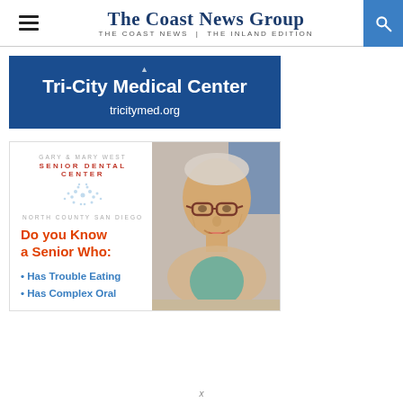The Coast News Group — The Coast News | The Inland Edition
[Figure (advertisement): Tri-City Medical Center advertisement banner with blue background, text 'Tri-City Medical Center' and website 'tricitymed.org']
[Figure (advertisement): Gary & Mary West Senior Dental Center — North County San Diego advertisement. Left side has logo text and headline 'Do you Know a Senior Who:' with bullets 'Has Trouble Eating' and 'Has Complex Oral'. Right side shows photo of elderly woman with glasses smiling.]